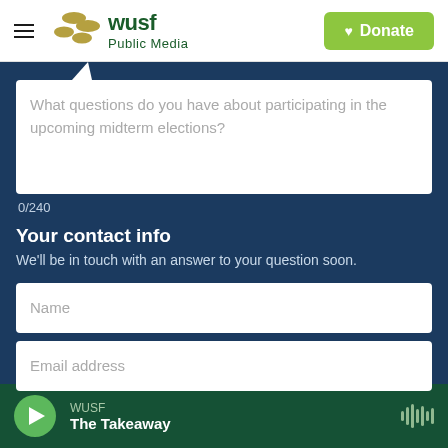WUSF Public Media | Donate
What questions do you have about participating in the upcoming midterm elections?
0/240
Your contact info
We'll be in touch with an answer to your question soon.
Name
Email address
WUSF | The Takeaway